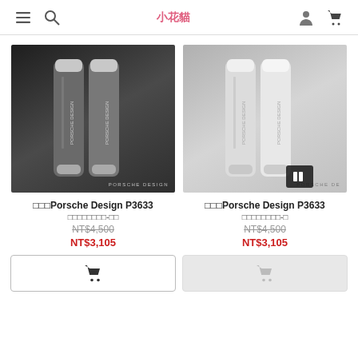小花貓 (logo) — navigation header with menu, search, user, cart icons
[Figure (photo): Two Porsche Design P3633 lighters in dark/gray colorway on black background with PORSCHE DESIGN watermark]
□□□Porsche Design P3633
□□□□□□□□-□□
NT$4,500
NT$3,105
[Figure (photo): Two Porsche Design P3633 lighters in silver/white colorway on gray background with PORSCHE DESIGN watermark and dark overlay badge]
□□□Porsche Design P3633
□□□□□□□□-□
NT$4,500
NT$3,105